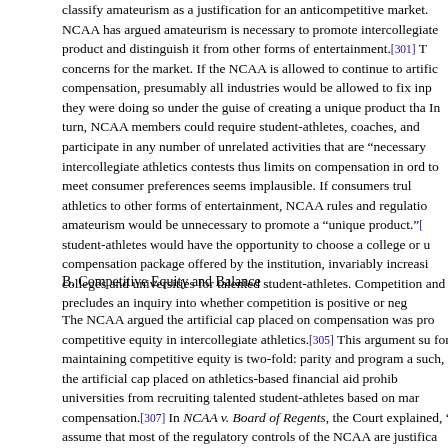classify amateurism as a justification for an anticompetitive market. NCAA has argued amateurism is necessary to promote intercollegiate product and distinguish it from other forms of entertainment.[301] These concerns for the market. If the NCAA is allowed to continue to artificially fix compensation, presumably all industries would be allowed to fix inputs if they were doing so under the guise of creating a unique product that. In turn, NCAA members could require student-athletes, coaches, and others to participate in any number of unrelated activities that are "necessary" for intercollegiate athletics contests thus limits on compensation in order to meet consumer preferences seems implausible. If consumers truly prefer athletics to other forms of entertainment, NCAA rules and regulations on amateurism would be unnecessary to promote a "unique product."[...] student-athletes would have the opportunity to choose a college or university compensation package offered by the institution, invariably increasing competition among colleges and universities for talented student-athletes. Competition and precludes an inquiry into whether competition is positive or negative.
B. Competitive Equity and Balance
The NCAA argued the artificial cap placed on compensation was pro-competitive equity in intercollegiate athletics.[305] This argument suggests for maintaining competitive equity is two-fold: parity and program attractiveness. As such, the artificial cap placed on athletics-based financial aid prohibits colleges and universities from recruiting talented student-athletes based on market-level compensation.[307] In NCAA v. Board of Regents, the Court explained, "we assume that most of the regulatory controls of the NCAA are justifiable."